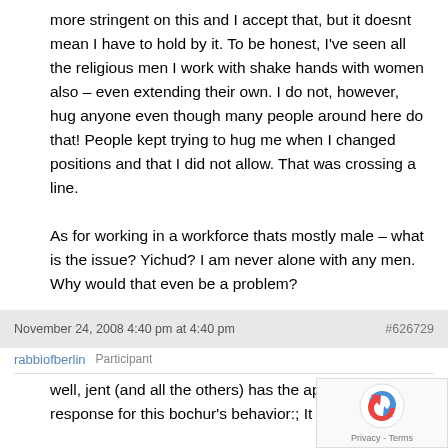more stringent on this and I accept that, but it doesnt mean I have to hold by it. To be honest, I've seen all the religious men I work with shake hands with women also – even extending their own. I do not, however, hug anyone even though many people around here do that! People kept trying to hug me when I changed positions and that I did not allow. That was crossing a line.

As for working in a workforce thats mostly male – what is the issue? Yichud? I am never alone with any men. Why would that even be a problem?
November 24, 2008 4:40 pm at 4:40 pm
#626729
rabbiofberlin   Participant
well, jent (and all the others) has the appropriate response for this bochur's behavior:; It is a Mitzvo